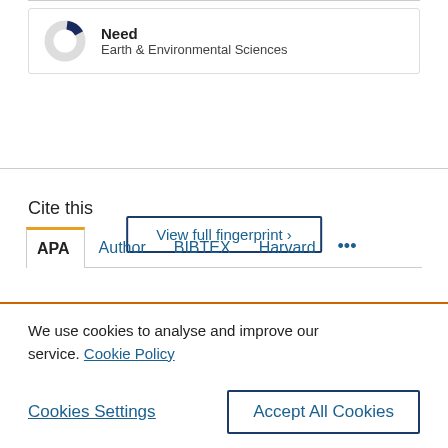[Figure (donut-chart): Small donut chart with a dark navy slice (small) and grey remaining portion, representing the concept 'Need' in Earth & Environmental Sciences]
Need
Earth & Environmental Sciences
View full fingerprint ›
Cite this
APA	Author	BIBTEX	Harvard	...
We use cookies to analyse and improve our service. Cookie Policy
Cookies Settings
Accept All Cookies